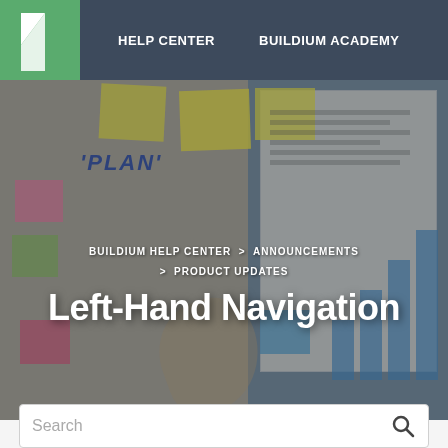HELP CENTER   BUILDIUM ACADEMY
[Figure (photo): Background photo of a planning board with sticky notes (yellow, pink, green), handwritten PLAN text, a person pointing at the board, and a bar chart visible on the right side.]
BUILDIUM HELP CENTER  >  ANNOUNCEMENTS  >  PRODUCT UPDATES
Left-Hand Navigation
Search